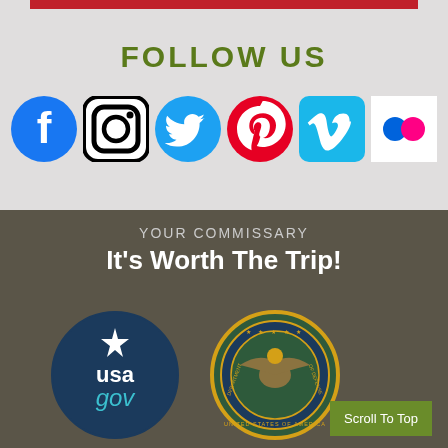FOLLOW US
[Figure (logo): Social media icons row: Facebook, Instagram, Twitter, Pinterest, Vimeo, Flickr]
YOUR COMMISSARY
It's Worth The Trip!
[Figure (logo): USAgov logo — dark blue circle with star and 'usa gov' text]
[Figure (logo): Department of Defense seal — circular gold and blue seal with eagle]
Scroll To Top